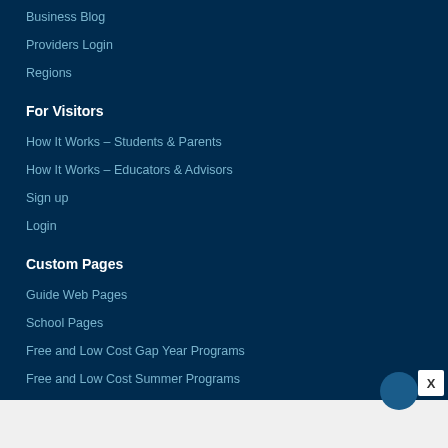Business Blog
Providers Login
Regions
For Visitors
How It Works – Students & Parents
How It Works – Educators & Advisors
Sign up
Login
Custom Pages
Guide Web Pages
School Pages
Free and Low Cost Gap Year Programs
Free and Low Cost Summer Programs